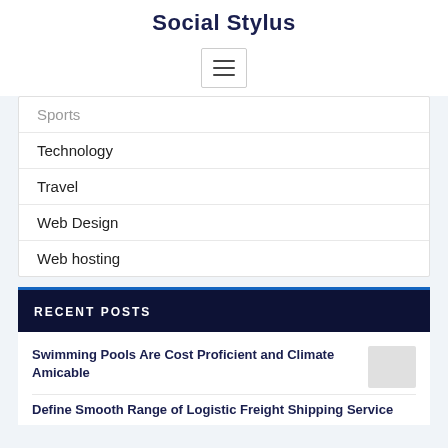Social Stylus
[Figure (other): Hamburger menu toggle button with three horizontal lines]
Sports
Technology
Travel
Web Design
Web hosting
RECENT POSTS
Swimming Pools Are Cost Proficient and Climate Amicable
Define Smooth Range of Logistic Freight Shipping Service